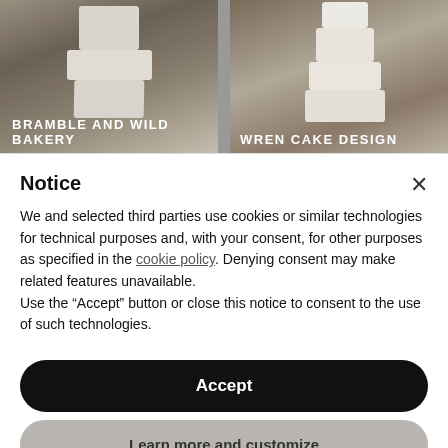[Figure (photo): Two wedding cake photos side by side. Left: a white textured multi-tier cake with branches and dried flowers labeled BRAMBLE AND WILD BAKERY. Right: a white semi-naked layered cake with red and green florals labeled WREN CAKE DESIGN.]
Notice
We and selected third parties use cookies or similar technologies for technical purposes and, with your consent, for other purposes as specified in the cookie policy. Denying consent may make related features unavailable.
Use the “Accept” button or close this notice to consent to the use of such technologies.
Accept
Learn more and customize